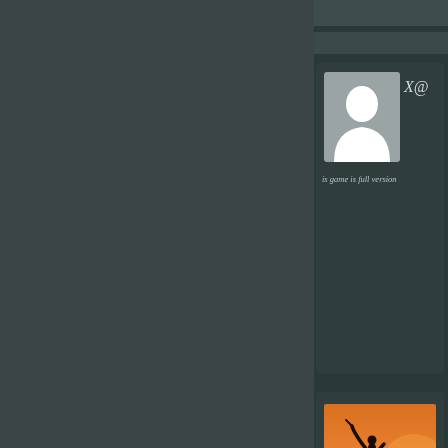[Figure (screenshot): Dark-themed UI screenshot showing left panel with dark teal/grey background, right panel with darker background containing UI cards. Top has two narrow bar strips. A profile card shows a generic user avatar silhouette with the text 'X@' partially visible and 'is game is full version' below. A second card shows a golf silhouette photo at sunset with text 'the full gam' partially visible.]
X@
is game is full version
the full gam